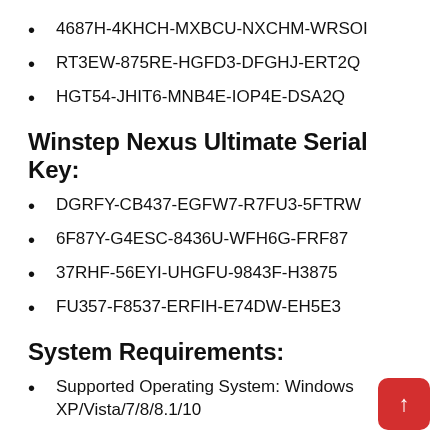4687H-4KHCH-MXBCU-NXCHM-WRSOI
RT3EW-875RE-HGFD3-DFGHJ-ERT2Q
HGT54-JHIT6-MNB4E-IOP4E-DSA2Q
Winstep Nexus Ultimate Serial Key:
DGRFY-CB437-EGFW7-R7FU3-5FTRW
6F87Y-G4ESC-8436U-WFH6G-FRF87
37RHF-56EYI-UHGFU-9843F-H3875
FU357-F8537-ERFIH-E74DW-EH5E3
System Requirements:
Supported Operating System: Windows XP/Vista/7/8/8.1/10